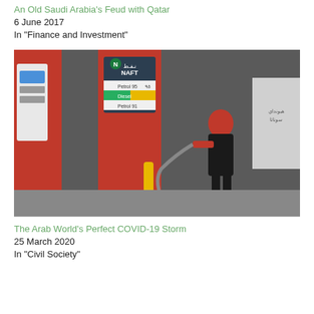An Old Saudi Arabia's Feud with Qatar
6 June 2017
In "Finance and Investment"
[Figure (photo): A gas station worker in red uniform holding a fuel hose at a NAFT petrol station, with pump signs showing Petrol 95, Diesel, and Petrol 91 in Arabic and English. A yellow bollard and a Hyundai advertisement are visible in the background.]
The Arab World's Perfect COVID-19 Storm
25 March 2020
In "Civil Society"